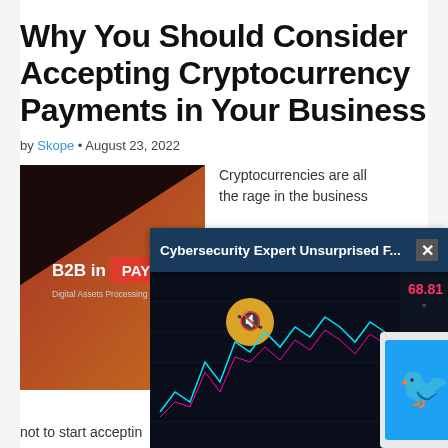Why You Should Consider Accepting Cryptocurrency Payments in Your Business
by Skope • August 23, 2022
[Figure (photo): B2B in PAY – Digital Assets Processing logo/banner on dark background with orange gradient]
Cryptocurrencies are all the rage in the business
[Figure (screenshot): Notification bar overlay reading 'Cybersecurity Expert Unsurprised F...' with close button X, over a trading chart showing candlestick data and a Twitter logo on a phone screen]
not to start acceptin